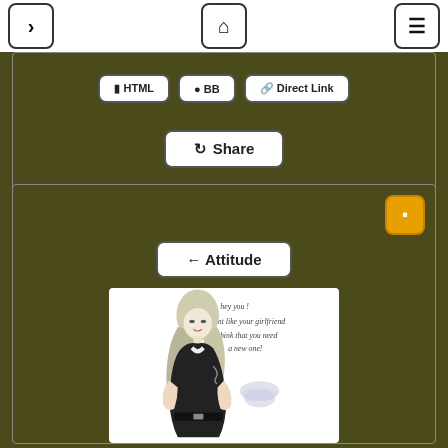[Figure (screenshot): Top navigation bar with three buttons: a right arrow, a home icon, and a hamburger menu icon]
[Figure (screenshot): Upper panel with share/embed buttons row (HTML, BB, Direct Link) and a Share button]
[Figure (screenshot): Lower panel with orange icon, Attitude navigation button, and an attitude quote image showing a stylized woman in black with text: hey you ! I dont like your girlfriend I think that you need a new one!]